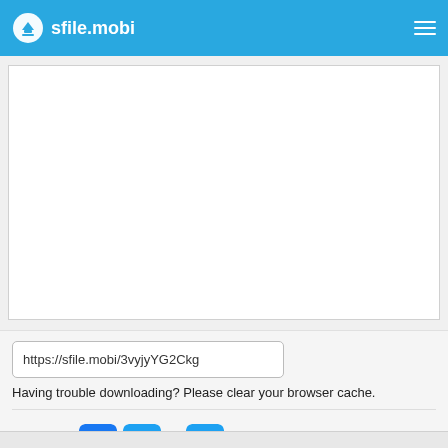sfile.mobi
[Figure (other): White rectangular advertisement/content area]
https://sfile.mobi/3vyjyYG2Ckg
Having trouble downloading? Please clear your browser cache.
Share on [Facebook icon] [Twitter icon] or [Share icon]